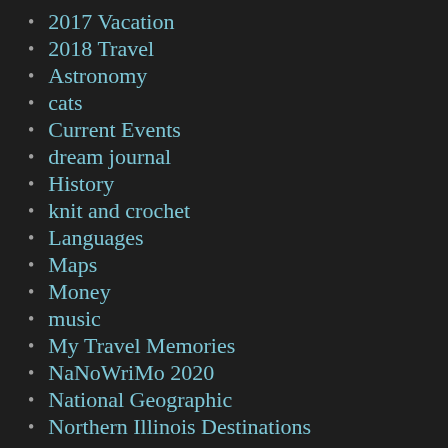2017 Vacation
2018 Travel
Astronomy
cats
Current Events
dream journal
History
knit and crochet
Languages
Maps
Money
music
My Travel Memories
NaNoWriMo 2020
National Geographic
Northern Illinois Destinations